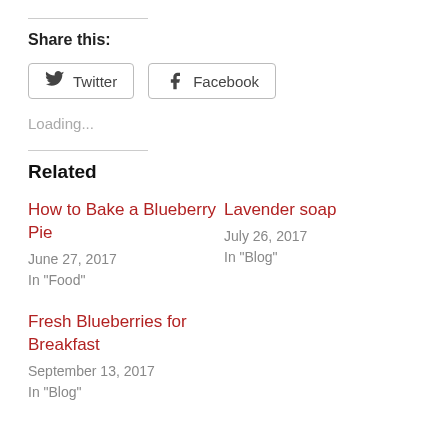Share this:
Twitter   Facebook
Loading...
Related
How to Bake a Blueberry Pie
June 27, 2017
In "Food"
Lavender soap
July 26, 2017
In "Blog"
Fresh Blueberries for Breakfast
September 13, 2017
In "Blog"